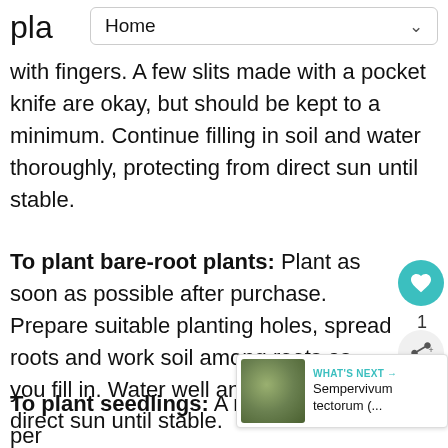Home
with fingers. A few slits made with a pocket knife are okay, but should be kept to a minimum. Continue filling in soil and water thoroughly, protecting from direct sun until stable.
To plant bare-root plants: Plant as soon as possible after purchase. Prepare suitable planting holes, spread roots and work soil among roots as you fill in. Water well and protect from direct sun until stable.
To plant seedlings: A number of perennials produce self-sown seedlings that can be transplanted. You may also start your own